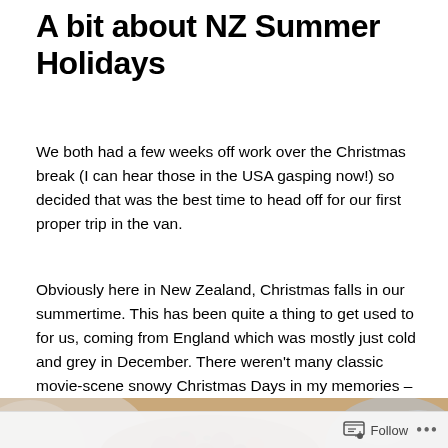A bit about NZ Summer Holidays
We both had a few weeks off work over the Christmas break (I can hear those in the USA gasping now!) so decided that was the best time to head off for our first proper trip in the van.
Obviously here in New Zealand, Christmas falls in our summertime. This has been quite a thing to get used to for us, coming from England which was mostly just cold and grey in December. There weren't many classic movie-scene snowy Christmas Days in my memories – mostly just cold and grey!
[Figure (photo): Partial view of a food spread on a table, showing what appears to be fruit or dessert items on plates.]
Follow ...